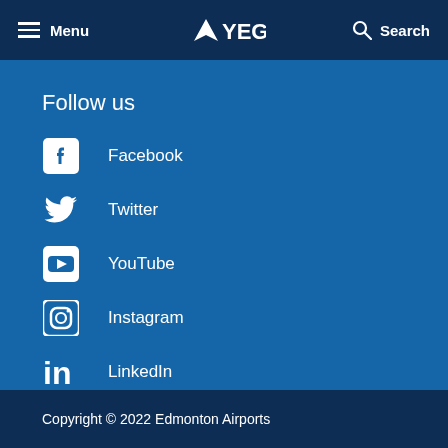Menu  YEG  Search
Follow us
Facebook
Twitter
YouTube
Instagram
LinkedIn
Copyright © 2022 Edmonton Airports